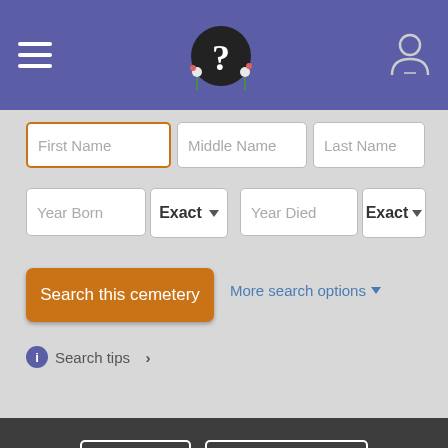[Figure (screenshot): Purple navigation bar with hamburger menu icon on left, decorative question mark logo in center, and user/person icon on right]
First Name
Middle Name
Last Name
Year Born
Exact
Year Died
Exact
Search this cemetery
More search options
Search tips >
SHARE
ADD FAVORITE
See all cemetery photos